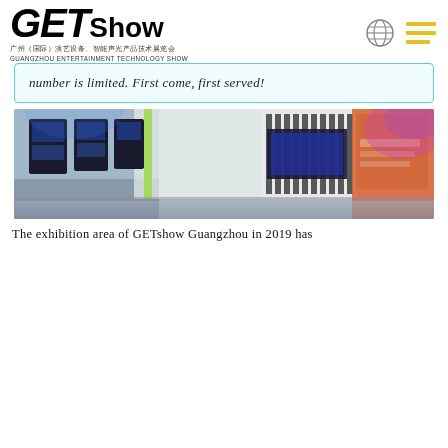GET Show 广州（国际）演艺设备、智能声光产品技术展览会 GUANGZHOU ENTERTAINMENT TECHNOLOGY SHOW
number is limited. First come, first served!
[Figure (photo): Exhibition hall photo showing display booths and lighting equipment at GETshow]
The exhibition area of GETshow Guangzhou in 2019 has